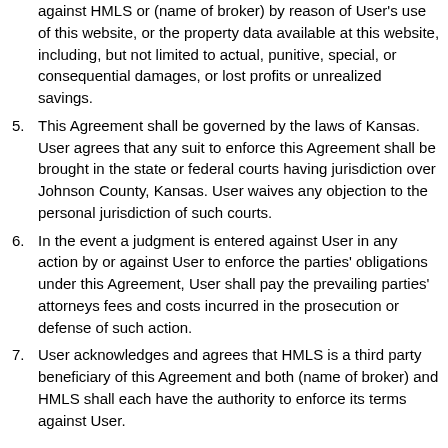against HMLS or (name of broker) by reason of User's use of this website, or the property data available at this website, including, but not limited to actual, punitive, special, or consequential damages, or lost profits or unrealized savings.
5. This Agreement shall be governed by the laws of Kansas. User agrees that any suit to enforce this Agreement shall be brought in the state or federal courts having jurisdiction over Johnson County, Kansas. User waives any objection to the personal jurisdiction of such courts.
6. In the event a judgment is entered against User in any action by or against User to enforce the parties' obligations under this Agreement, User shall pay the prevailing parties' attorneys fees and costs incurred in the prosecution or defense of such action.
7. User acknowledges and agrees that HMLS is a third party beneficiary of this Agreement and both (name of broker) and HMLS shall each have the authority to enforce its terms against User.